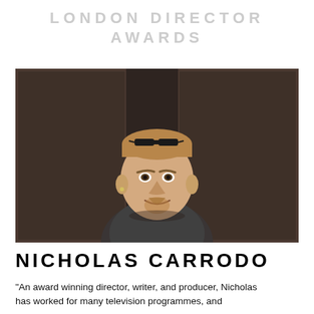LONDON DIRECTOR AWARDS
[Figure (photo): Headshot photo of Nicholas Carrodo, a man with short hair, glasses on top of his head, a goatee beard, wearing a dark plaid shirt, smiling, against a dark wooden door/panel background]
NICHOLAS CARRODO
"An award winning director, writer, and producer, Nicholas has worked for many television programmes, and